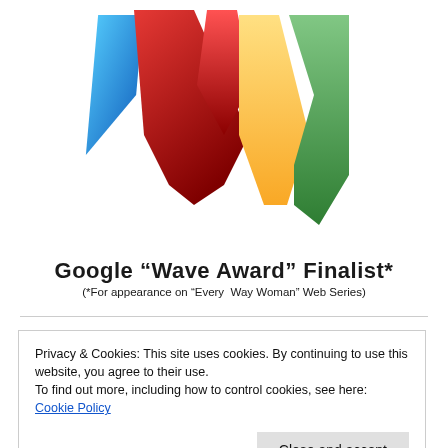[Figure (logo): Google Wave Award logo — colorful W shape made of blue, red, yellow, and green ribbon-like shapes]
Google “Wave Award” Finalist*
(*For appearance on “Every Way Woman” Web Series)
Privacy & Cookies: This site uses cookies. By continuing to use this website, you agree to their use.
To find out more, including how to control cookies, see here: Cookie Policy